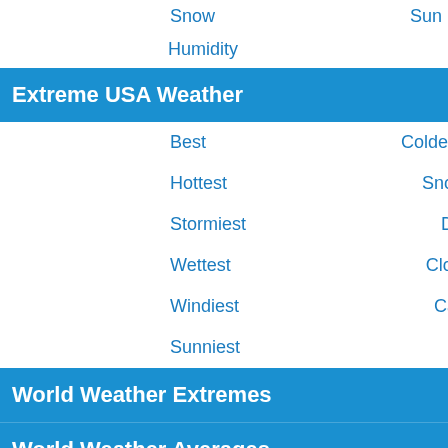Snow
Sun
Humidity
Extreme USA Weather
Best
Coldest
Hottest
Snowiest
Stormiest
Driest
Wettest
Cloudiest
Windiest
Calmest
Sunniest
World Weather Extremes
World Weather Averages
USA